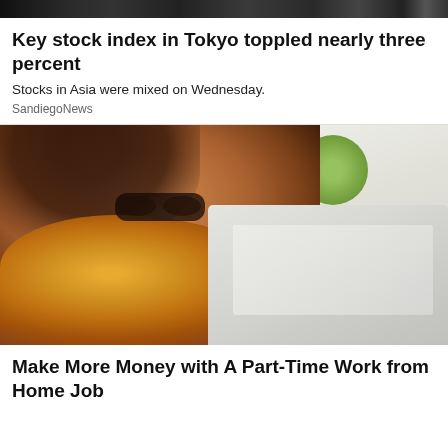[Figure (photo): Top banner strip showing a dark/blurry news image at the top of the page]
Key stock index in Tokyo toppled nearly three percent
Stocks in Asia were mixed on Wednesday.
SandiegoNews
[Figure (photo): Photo of a young woman with glasses wearing an orange floral top, sitting on a couch and looking at a laptop computer. Green plant visible in background.]
Make More Money with A Part-Time Work from Home Job